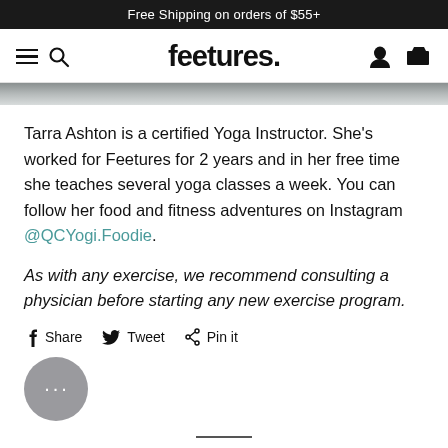Free Shipping on orders of $55+
[Figure (screenshot): Feetures website navigation bar with hamburger menu, search icon, Feetures logo, user account icon, and shopping cart icon]
[Figure (photo): Narrow hero image strip showing a dark grey surface]
Tarra Ashton is a certified Yoga Instructor. She’s worked for Feetures for 2 years and in her free time she teaches several yoga classes a week. You can follow her food and fitness adventures on Instagram @QCYogi.Foodie.
As with any exercise, we recommend consulting a physician before starting any new exercise program.
Share  Tweet  Pin it